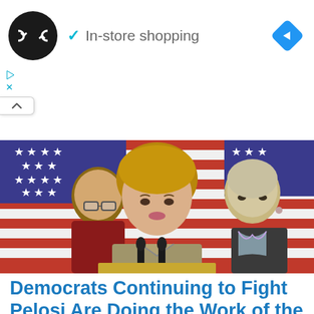[Figure (screenshot): Mobile advertisement banner showing a store logo (dark circle with double arrow symbol), a green checkmark with text 'In-store shopping', and a blue diamond navigation arrow on the right. Below are small ad controls (play and close icons), and a collapse button with an up caret.]
[Figure (photo): Photograph of Nancy Pelosi speaking at a podium with microphones, flanked by two women, with multiple American flags in the background.]
Democrats Continuing to Fight Pelosi Are Doing the Work of the